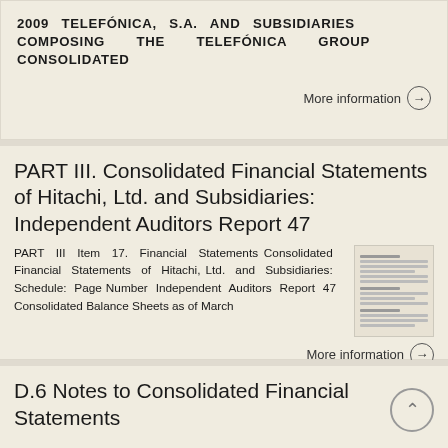2009 TELEFÓNICA, S.A. AND SUBSIDIARIES COMPOSING THE TELEFÓNICA GROUP CONSOLIDATED
More information →
PART III. Consolidated Financial Statements of Hitachi, Ltd. and Subsidiaries: Independent Auditors Report 47
PART III Item 17. Financial Statements Consolidated Financial Statements of Hitachi, Ltd. and Subsidiaries: Schedule: Page Number Independent Auditors Report 47 Consolidated Balance Sheets as of March
[Figure (screenshot): Thumbnail image of a financial document page showing table of contents or schedule listing]
More information →
D.6 Notes to Consolidated Financial Statements